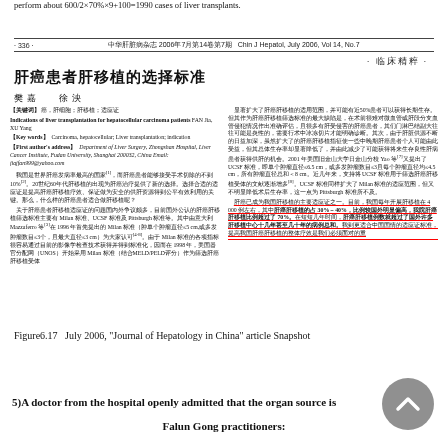perform about 600/2×70%×9+100=1990 cases of liver transplants.
· 336 ·   中华肝脏病杂志 2006年7月第14卷第7期  Chin J Hepatol, July 2006, Vol 14, No.7
· 临床精粹 ·
肝癌患者肝移植的选择标准
樊嘉  徐泱
[关键词] 癌，肝细胞；肝移植；适应证
Indications of liver transplantation for hepatocellular carcinoma patients FAN Jia, XU Yang
[Key words] Carcinoma, hepatocellular; Liver transplantation; indication
[First author's address] Department of Liver Surgery, Zhongshan Hospital, Liver Cancer Institute, Fudan University, Shanghai 200032, China Email: jiajfan999@yahoo.com
我国是世界肝癌发病率最高的国家[1]，而肝癌患者能够接受手术切除的不到10%[2]。20世纪60年代肝移植的出现为肝癌治疗提供了新的选择。选择合适的适应证是提高肝癌肝移植疗效、保证做为安全的供肝资源得到公平有效利用的关键。那么，什么样的肝癌患者适合做肝移植呢？
关于肝癌患者肝移植适应证的问题国内外争议颇多，目前国外公认的肝癌肝移植筛选标准主要有 Milan 标准、UCSF 标准及 Pittsburgh 标准等。其中由意大利 Mazzaferro 等[3]在 1996 年首先提出的 Milan 标准（肿单个肿瘤直径≤5 cm,或多发肿瘤数目≤3个，且最大直径≤3 cm）为大家认可[4-8]。由于 Milan 标准的各项指标很容易通过目前的影像学检查技术获得并得到标准化，因而在 1998 年，美国器官分配网（UNOS）开始采用 Milan 标准（结合MELD/PELD评分）作为筛选肝癌肝移植受体
显著扩大了肝癌肝移植的适用范围，并可能有近50%患者可以获得长期生存。但其作为肝癌肝移植筛选标准的最大缺陷是，在术前很难对微血管或肝段分支血管侵犯情况作出准确评估，且很多有肝受侵害的肝癌患者，其们门淋巴结副大往往可能是炎性的，需要行术中冰冻切片才能明确诊断。其次，由于肝脏供源不断的日益加深，虽然扩大了的肝癌肝移植指征使一些中晚期肝癌患者个人可能由此受益，但其总体生存率却显著降低了，并由此减少了可能获得将来生存良性肝病患者获得供肝的机会。2001 年美国旧金山大学日金山分校 Yao 等[7]又提出了 UCSF 标准，即单个肿瘤直径≤6.5 cm，或多发肿瘤数目≤3且每个肿瘤直径均≤4.5 cm，所有肿瘤直径总和＜8 cm。近几年来，支持将 UCSF 标准用于筛选肝癌肝移植受体的文献逐渐增多[8]。UCSF 标准同样扩大了 Milan 标准的适应范围，但又不明显降低术后生存率，这一点为 Pittsburgh 标准所不及。
肝癌已成为我国肝移植的主要适应证之一。目前，我国每年开展肝移植在 4 000 例左右，其中肝癌肝移植的占 30%－40%，比例较国外明显偏高，我院肝癌肝移植比例超过了 70%。在短短几年时间，肝癌肝移植例数就超过了国外许多肝移植中心十几年甚至几十年的病例总和。我到更适合中国国情的适应证标准，提高我国肝癌肝移植的整体疗效是我们必须面对的重
Figure6.17  July 2006, "Journal of Hepatology in China" article Snapshot
5)A doctor from the hospital openly admitted that the organ source is
Falun Gong practitioners: